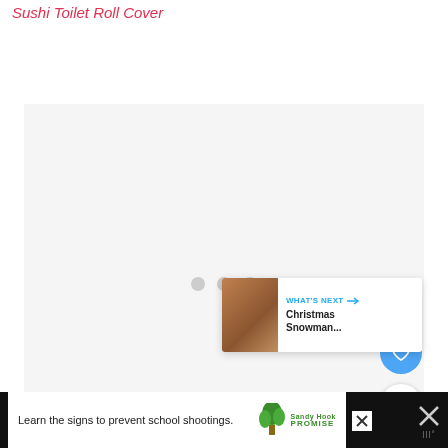Sushi Toilet Roll Cover
[Figure (photo): Large light gray placeholder image area with three gray dots in the center, a blue heart button on the right, and a share button below it. A 'What's Next' card shows Christmas Snowman... with a thumbnail image.]
WHAT'S NEXT → Christmas Snowman...
Learn the signs to prevent school shootings.